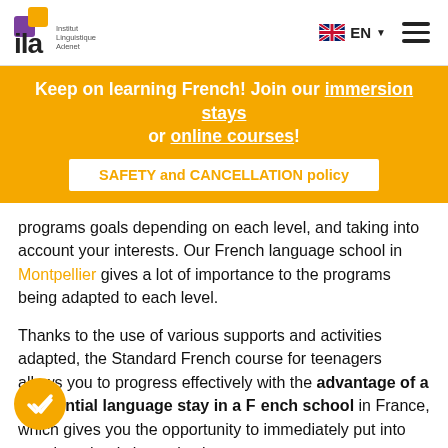ILA Institut Linguistique Adenet — EN
Keep on learning French! Join our immersion stays or online courses!
SAFETY and CANCELLATION policy
programs goals depending on each level, and taking into account your interests. Our French language school in Montpellier gives a lot of importance to the programs being adapted to each level.
Thanks to the use of various supports and activities adapted, the Standard French course for teenagers allows you to progress effectively with the advantage of a residential language stay in a French school in France, which gives you the opportunity to immediately put into practice what is learnt in class.